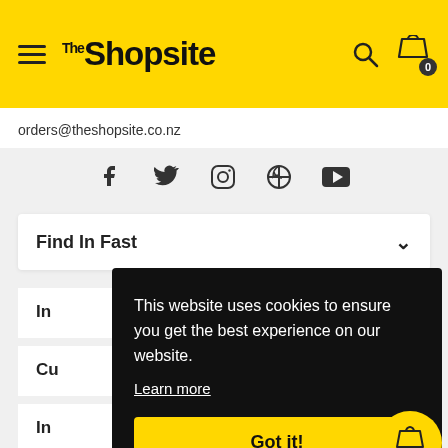The Shopsite
orders@theshopsite.co.nz
[Figure (other): Social media icons: Facebook, Twitter, Instagram, Pinterest, YouTube]
Find In Fast
In
Cu
In
This website uses cookies to ensure you get the best experience on our website. Learn more Got it!